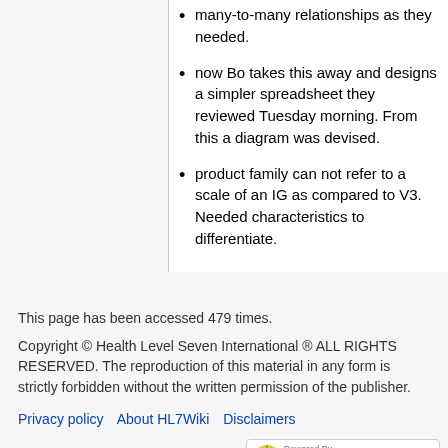many-to-many relationships as they needed.
now Bo takes this away and designs a simpler spreadsheet they reviewed Tuesday morning. From this a diagram was devised.
product family can not refer to a scale of an IG as compared to V3. Needed characteristics to differentiate.
This page has been accessed 479 times.
Copyright © Health Level Seven International ® ALL RIGHTS RESERVED. The reproduction of this material in any form is strictly forbidden without the written permission of the publisher.
Privacy policy   About HL7Wiki   Disclaimers
[Figure (logo): Powered by MediaWiki and WikiTeq logos]